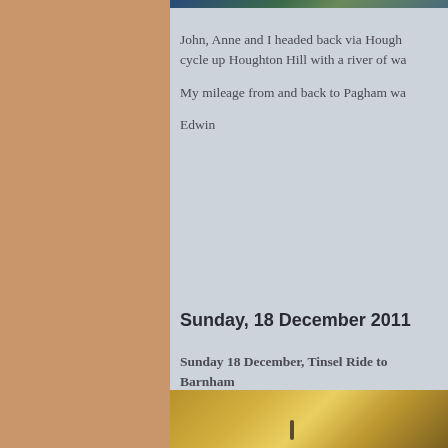[Figure (photo): Top photo strip showing outdoor cycling/nature scene with blue and green tones]
John, Anne and I headed back via Hough… cycle up Houghton Hill with a river of wa…
My mileage from and back to Pagham wa…
Edwin
Sunday, 18 December 2011
Sunday 18 December, Tinsel Ride to Barnham
  First a few more HDR pictures. Just ove… London for some more pictures. This firs… the Northern Line. This was taken close t… more drama. The shutter speed was slow…
[Figure (photo): Bottom photo showing a metallic rail or tube with golden/brass tones, likely London Underground Northern Line]